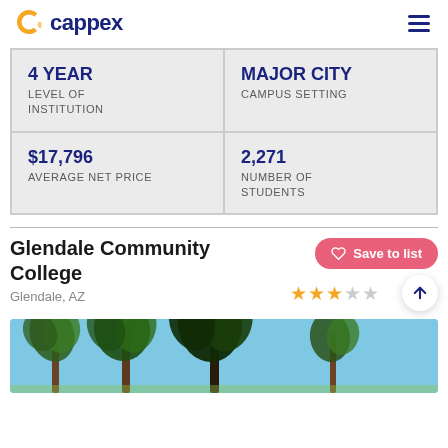cappex
| 4 YEAR | MAJOR CITY |
| LEVEL OF INSTITUTION | CAMPUS SETTING |
| $17,796 | 2,271 |
| AVERAGE NET PRICE | NUMBER OF STUDENTS |
Glendale Community College
Glendale, AZ
[Figure (other): Photo of palm trees against blue sky at Glendale Community College campus]